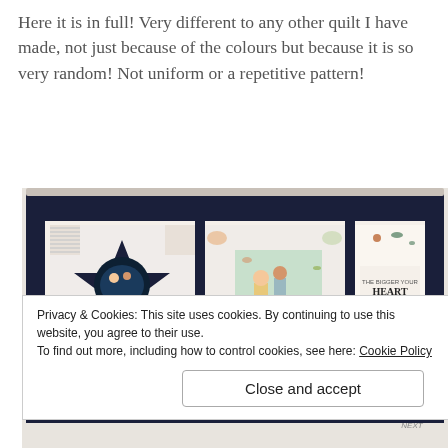Here it is in full! Very different to any other quilt I have made, not just because of the colours but because it is so very random! Not uniform or a repetitive pattern!
[Figure (photo): A handmade quilt displayed on a wall, featuring a dark navy border with a star-patchwork block on the left (showing illustrated children on a flying animal in the center), two decorative fabric panel blocks in the middle and right (one with illustrated children and falling leaves, one with text reading 'The bigger your HEART the more it will HOLD'), and a bottom row of smaller patchwork blocks with floral and bird fabric patterns.]
Privacy & Cookies: This site uses cookies. By continuing to use this website, you agree to their use.
To find out more, including how to control cookies, see here: Cookie Policy
Close and accept